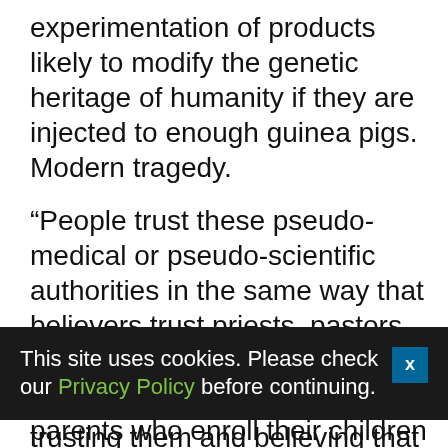experimentation of products likely to modify the genetic heritage of humanity if they are injected to enough guinea pigs. Modern tragedy.
“People trust these pseudo-medical or pseudo-scientific authorities in the same way that believers trust priests, pastors, imams or other religious authorities. These ignorant parents who enroll their children in experimental covid-19 “vaccine” trials are following the same path as the elders who listened to the responsible authorities of
This site uses cookies. Please check our Privacy Policy before continuing.
trusting them and believing that they were